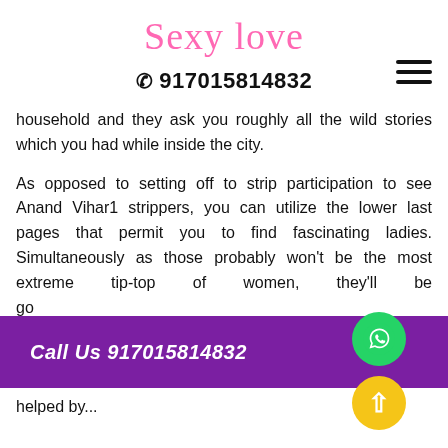Sexy Love
✆ 917015814832
household and they ask you roughly all the wild stories which you had while inside the city.
As opposed to setting off to strip participation to see Anand Vihar1 strippers, you can utilize the lower last pages that permit you to find fascinating ladies. Simultaneously as those probably won't be the most extreme tip-top of women, they'll be go... access... you are looking out friendship, explicitly with... kind of love. You could have helped by...
Call Us 917015814832